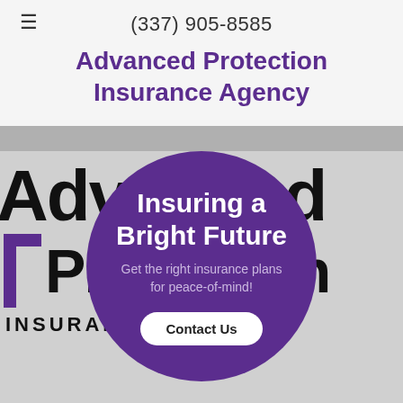(337) 905-8585
Advanced Protection Insurance Agency
[Figure (logo): Advanced Protection Insurance Agency logo with large block letters 'Advanced' on top and 'Protection' below with a purple L-bracket, text 'INSURANCE AGENCY' below]
Insuring a Bright Future
Get the right insurance plans for peace-of-mind!
Contact Us